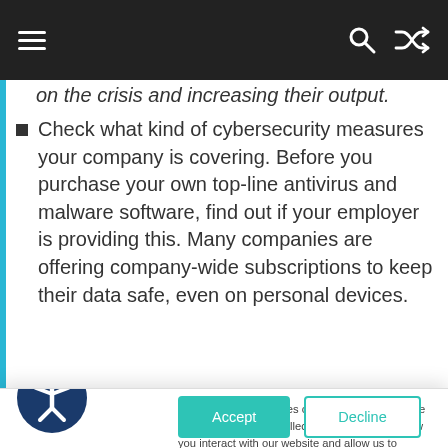[Navigation bar with hamburger menu, search icon, and shuffle icon]
on the crisis and increasing their output.
Check what kind of cybersecurity measures your company is covering. Before you purchase your own top-line antivirus and malware software, find out if your employer is providing this. Many companies are offering company-wide subscriptions to keep their data safe, even on personal devices
Autisable stores cookies on your computer. These cookies are used to collect information about how you interact with our website and allow us to remember you. We use this information in order to improve and customize your browsing experience and for analytics and metrics about our visitors both on this website and other media. To find out more about the cookies we use, see our Privacy Policy.
To find out more about the cookies we use, see our Terms of Use.